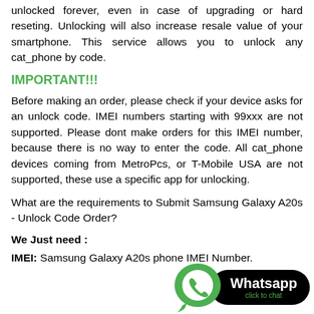unlocked forever, even in case of upgrading or hard reseting. Unlocking will also increase resale value of your smartphone. This service allows you to unlock any cat_phone by code.
IMPORTANT!!!
Before making an order, please check if your device asks for an unlock code. IMEI numbers starting with 99xxx are not supported. Please dont make orders for this IMEI number, because there is no way to enter the code. All cat_phone devices coming from MetroPcs, or T-Mobile USA are not supported, these use a specific app for unlocking.
What are the requirements to Submit Samsung Galaxy A20s - Unlock Code Order?
We Just need :
IMEI: Samsung Galaxy A20s phone IMEI Number.
[Figure (logo): WhatsApp click to chat badge with green WhatsApp logo bubble and black pill-shaped button saying Whatsapp click to chat]